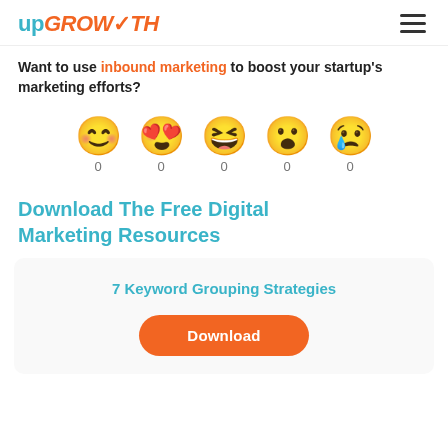upGROWTH
Want to use inbound marketing to boost your startup's marketing efforts?
[Figure (infographic): Five emoji reaction icons (smiley, heart-eyes, laughing, shocked, crying) each with a count of 0 below them]
Download The Free Digital Marketing Resources
7 Keyword Grouping Strategies
Download